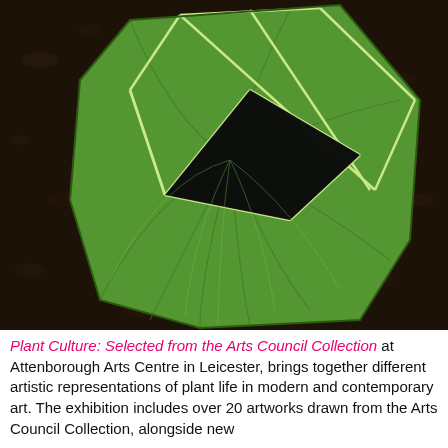[Figure (photo): Overhead photograph of a large green leaf on dark soil. The leaf has been cut or scored with geometric straight lines forming a diamond/polygon shape with a dark void in the centre, revealing the leaf venation pattern on a dark earth background.]
Plant Culture: Selected from the Arts Council Collection at Attenborough Arts Centre in Leicester, brings together different artistic representations of plant life in modern and contemporary art. The exhibition includes over 20 artworks drawn from the Arts Council Collection, alongside new